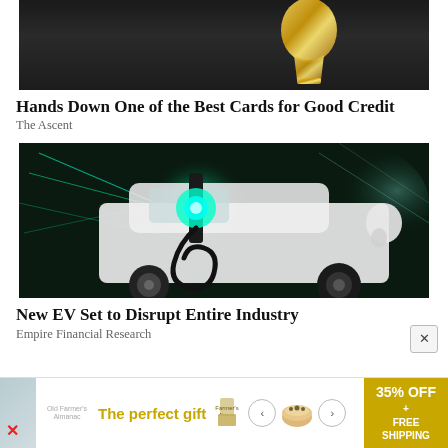[Figure (photo): Dark background image with a gold trophy or sculpture visible at the top, partial view — advertisement for credit card]
Hands Down One of the Best Cards for Good Credit
The Ascent
[Figure (photo): Electric vehicle being charged with a glowing green EV charger, dramatic teal/green light streaks on a dark background]
New EV Set to Disrupt Entire Industry
Empire Financial Research
[Figure (infographic): Bottom banner advertisement: 'The perfect gift' with food/bowl imagery, navigation arrows, and '35% OFF + FREE SHIPPING' gold badge]